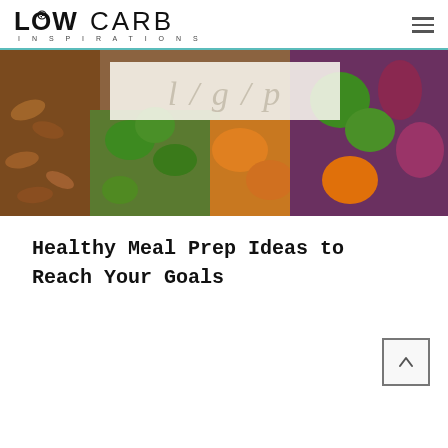LOW CARB INSPIRATIONS
[Figure (photo): Overhead photo of meal prep containers with nuts, broccoli, carrots, red onions, and colorful vegetables. Overlaid with a cursive/script text banner with light background.]
Healthy Meal Prep Ideas to Reach Your Goals